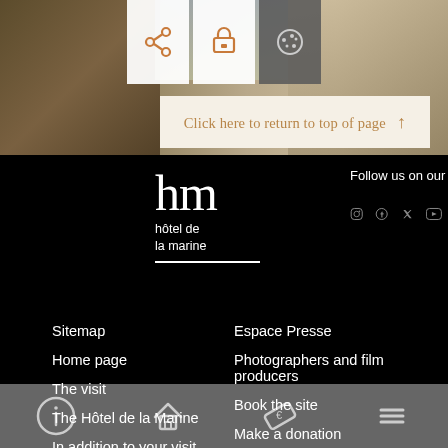[Figure (screenshot): Top section with architectural background image showing statues/sculptures on left and classical building on right. Three icon buttons (share, print, cookies) overlaid in white/dark boxes at top center.]
Click here to return to top of page ↑
[Figure (logo): Hôtel de la Marine logo: large white 'hm' letters above text 'hôtel de la marine' with white underline, on black background]
Follow us on our networks
[Figure (infographic): Social media icons: Instagram, Facebook, Twitter, YouTube — white/gray outlined circles on black background]
Sitemap
Home page
The visit
The Hôtel de la Marine
In addition to your visit
Espace Presse
Photographers and film producers
Book the site
Make a donation
Bottom navigation bar with info, home, ticket, and menu icons